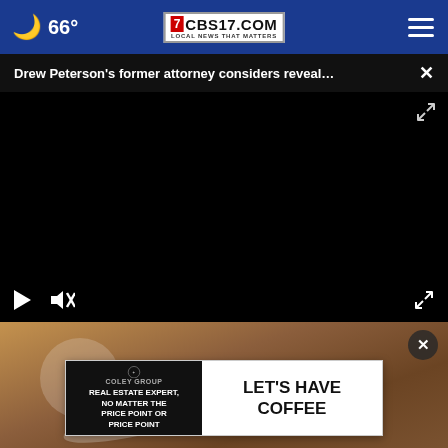66° CBS17.COM LOCAL NEWS THAT MATTERS
Drew Peterson's former attorney considers reveal... ×
[Figure (screenshot): Black video player with play, mute, and fullscreen controls at bottom]
[Figure (photo): Close-up photo of what appears to be a white measuring spoon on a wooden surface, with a circular close (×) button overlay]
REAL ESTATE EXPERT, NO MATTER THE PRICE POINT OR PRICE POINT — COLEY GROUP | LET'S HAVE COFFEE (advertisement)